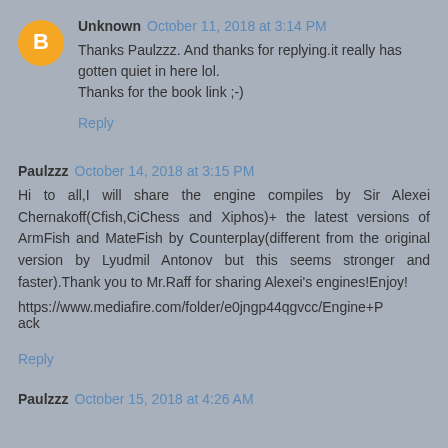Unknown  October 11, 2018 at 3:14 PM
Thanks Paulzzz. And thanks for replying.it really has gotten quiet in here lol.
Thanks for the book link ;-)
Reply
Paulzzz  October 14, 2018 at 3:15 PM
Hi to all,I will share the engine compiles by Sir Alexei Chernakoff(Cfish,CiChess and Xiphos)+ the latest versions of ArmFish and MateFish by Counterplay(different from the original version by Lyudmil Antonov but this seems stronger and faster).Thank you to Mr.Raff for sharing Alexei's engines!Enjoy!
https://www.mediafire.com/folder/e0jngp44qgvcc/Engine+Pack
Reply
Paulzzz  October 15, 2018 at 4:26 AM